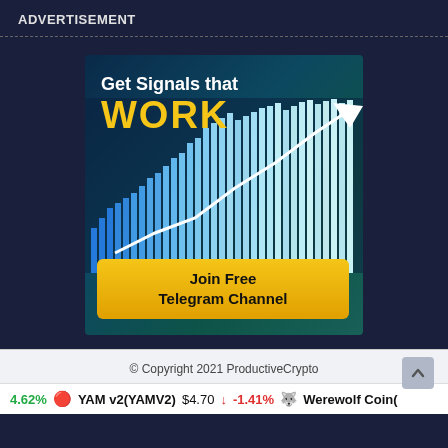ADVERTISEMENT
[Figure (illustration): Advertisement banner for a crypto trading signals Telegram channel. Dark blue/teal background with bar chart and upward arrow graphic. Text reads 'Get Signals that WORK' with a yellow 'Join Free Telegram Channel' button.]
© Copyright 2021 ProductiveCrypto
4.62%   YAM v2(YAMV2)  $4.70  ↓ -1.41%   Werewolf Coin(